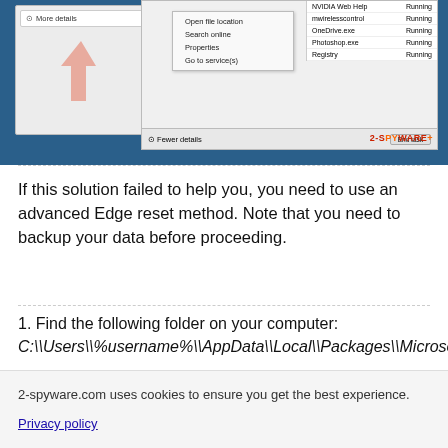[Figure (screenshot): Screenshot of Windows Task Manager showing processes list with a context menu open (options: Open file location, Search online, Properties, Go to service(s)) and a pink arrow pointing to 'More details' button. Bottom bar shows 'Fewer details' and 'End task' button. Watermark '2-spyware' visible.]
If this solution failed to help you, you need to use an advanced Edge reset method. Note that you need to backup your data before proceeding.
1. Find the following folder on your computer: C:\\Users\\%username%\\AppData\\Local\\Packages\\Microsoft.MicrosoftEdge_8wekyb3d8bbwe.
2. Press Ctrl + A on your keyboard to select all folders.
2-spyware.com uses cookies to ensure you get the best experience.
Privacy policy
Agree